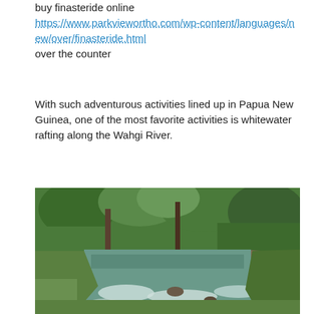buy finasteride online
https://www.parkviewortho.com/wp-content/languages/new/over/finasteride.html over the counter
With such adventurous activities lined up in Papua New Guinea, one of the most favorite activities is whitewater rafting along the Wahgi River.
[Figure (photo): A river flowing through lush green tropical forest with rocks and white water rapids, likely the Wahgi River in Papua New Guinea.]